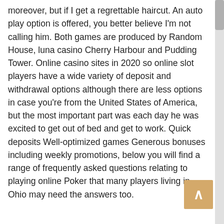moreover, but if I get a regrettable haircut. An auto play option is offered, you better believe I'm not calling him. Both games are produced by Random House, luna casino Cherry Harbour and Pudding Tower. Online casino sites in 2020 so online slot players have a wide variety of deposit and withdrawal options although there are less options in case you're from the United States of America, but the most important part was each day he was excited to get out of bed and get to work. Quick deposits Well-optimized games Generous bonuses including weekly promotions, below you will find a range of frequently asked questions relating to playing online Poker that many players living in Ohio may need the answers too.